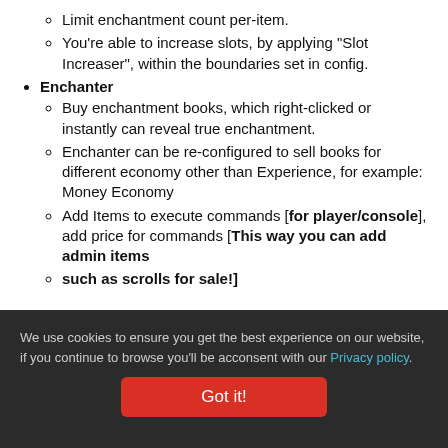Limit enchantment count per-item.
You're able to increase slots, by applying "Slot Increaser", within the boundaries set in config.
Enchanter
Buy enchantment books, which right-clicked or instantly can reveal true enchantment.
Enchanter can be re-configured to sell books for different economy other than Experience, for example: Money Economy
Add Items to execute commands [for player/console], add price for commands [This way you can add admin items such as scrolls for sale!]
We use cookies to ensure you get the best experience on our website, if you continue to browse you'll be acconsent with our Privacy policy. Got it!